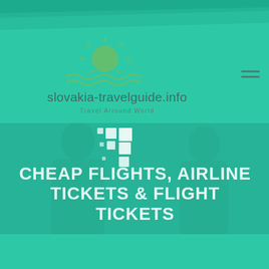[Figure (logo): Sun and waves logo icon for slovakia-travelguide.info]
slovakia-travelguide.info
Travel Arround World
[Figure (photo): Two women in a travel-themed photo with teal overlay]
CHEAP FLIGHTS, AIRLINE TICKETS & FLIGHT TICKETS